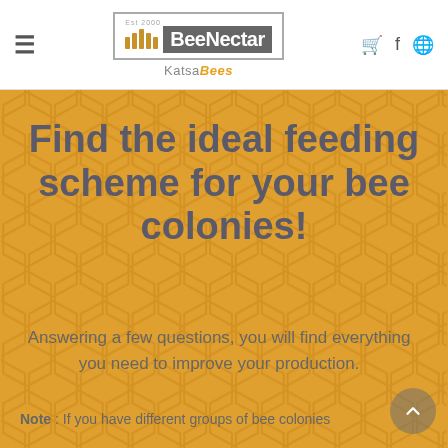BeeNectar KatsaBees - Est 2000
Find the ideal feeding scheme for your bee colonies!
Answering a few questions, you will find everything you need to improve your production.
Note : If you have different groups of bee colonies